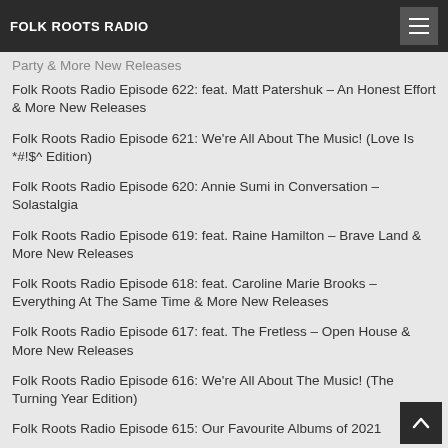FOLK ROOTS RADIO
Party & More New Releases
Folk Roots Radio Episode 622: feat. Matt Patershuk – An Honest Effort & More New Releases
Folk Roots Radio Episode 621: We're All About The Music! (Love Is *#!$^ Edition)
Folk Roots Radio Episode 620: Annie Sumi in Conversation – Solastalgia
Folk Roots Radio Episode 619: feat. Raine Hamilton – Brave Land & More New Releases
Folk Roots Radio Episode 618: feat. Caroline Marie Brooks – Everything At The Same Time & More New Releases
Folk Roots Radio Episode 617: feat. The Fretless – Open House & More New Releases
Folk Roots Radio Episode 616: We're All About The Music! (The Turning Year Edition)
Folk Roots Radio Episode 615: Our Favourite Albums of 2021
Folk Roots Radio Episode 614: Christa Couture In Conversation – Close To Us